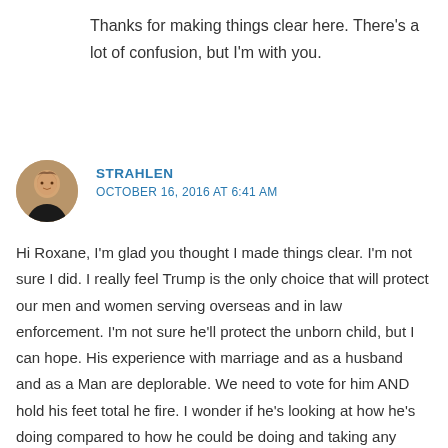Thanks for making things clear here. There's a lot of confusion, but I'm with you.
STRAHLEN
OCTOBER 16, 2016 AT 6:41 AM
Hi Roxane, I'm glad you thought I made things clear. I'm not sure I did. I really feel Trump is the only choice that will protect our men and women serving overseas and in law enforcement. I'm not sure he'll protect the unborn child, but I can hope. His experience with marriage and as a husband and as a Man are deplorable. We need to vote for him AND hold his feet total he fire. I wonder if he's looking at how he's doing compared to how he could be doing and taking any responsibility. I hope he sees how HIS actions and words could have changed the tearing apart he's receiving. Will he get the plank in his eye idea